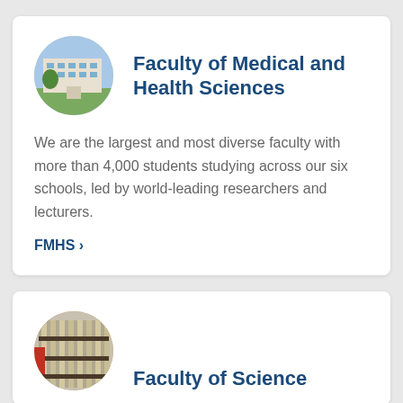[Figure (photo): Circular photo of a university building with blue sky, trees and a path]
Faculty of Medical and Health Sciences
We are the largest and most diverse faculty with more than 4,000 students studying across our six schools, led by world-leading researchers and lecturers.
FMHS >
[Figure (photo): Circular photo of a modern university building with architectural facade]
Faculty of Science